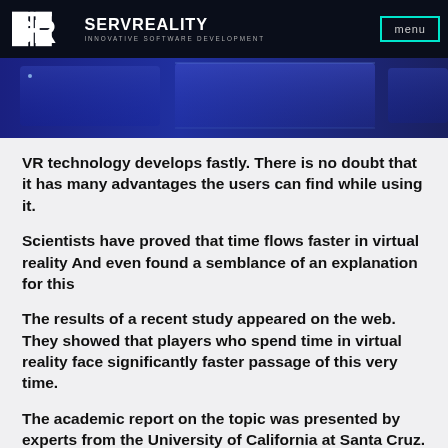SERVREALITY — INNOVATIVE SOFTWARE DEVELOPMENT | menu
[Figure (photo): Hero banner image showing a blue-toned VR/technology themed graphic with glowing panels]
VR technology develops fastly. There is no doubt that it has many advantages the users can find while using it.
Scientists have proved that time flows faster in virtual reality And even found a semblance of an explanation for this
The results of a recent study appeared on the web. They showed that players who spend time in virtual reality face significantly faster passage of this very time.
The academic report on the topic was presented by experts from the University of California at Santa Cruz.